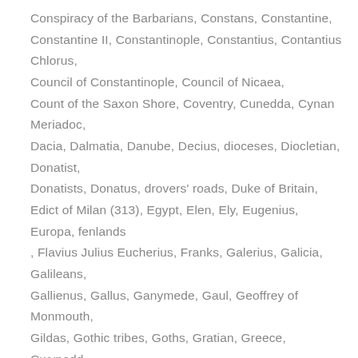Conspiracy of the Barbarians, Constans, Constantine, Constantine II, Constantinople, Constantius, Contantius Chlorus, Council of Constantinople, Council of Nicaea, Count of the Saxon Shore, Coventry, Cunedda, Cynan Meriadoc, Dacia, Dalmatia, Danube, Decius, dioceses, Diocletian, Donatist, Donatists, Donatus, drovers' roads, Duke of Britain, Edict of Milan (313), Egypt, Elen, Ely, Eugenius, Europa, fenlands, Flavius Julius Eucherius, Franks, Galerius, Galicia, Galileans, Gallienus, Gallus, Ganymede, Gaul, Geoffrey of Monmouth, Gildas, Gothic tribes, Goths, Gratian, Greece, Gwynedd, Hadrian's Wall, Helena, Hellenism, heresy, hierarchy, Hinton St Mary, Hispania, Honorius, Huns, Iberian-Celt, Illycum, Ireland, Jacobites, Jerusalem, Jovian, Julian, La Téne, Lancaster, Llandaff, Llydaw (Brittany), Londinium (Caer Lludd), Londinium (Caer Llyr), Lucius, Lullingstone, Lunt Fort, Lydney, Macedonia, Macsen Wledig, Macxen Wledig, Magmentius, Magnentius, Magnus Maximus (Macsen Wledig), Magnus Maximus, Marcus Aerelius, Maridunum, Maxentius,